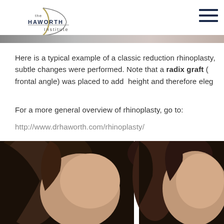[Figure (logo): The Haworth Institute logo with circular arc design and text]
Here is a typical example of a classic reduction rhinoplasty, subtle changes were performed. Note that a radix graft (frontal angle) was placed to add height and therefore eleg...
For a more general overview of rhinoplasty, go to:
http://www.drhaworth.com/rhinoplasty/
[Figure (photo): Before and after rhinoplasty patient photos showing side profile views]